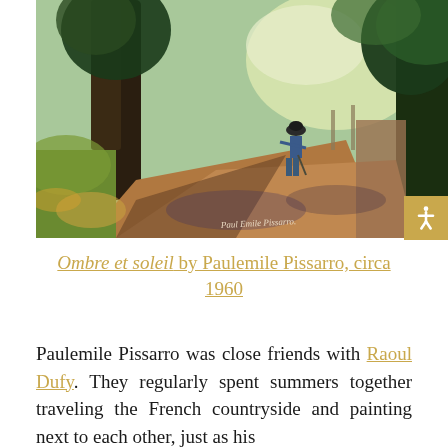[Figure (photo): An impressionist painting showing a path through trees with a figure wearing a hat walking along a sunlit lane. Signature at bottom right reads 'Paul Emile Pissarro'. The painting features lush greens, warm earth tones, and dappled light through tree canopies.]
Ombre et soleil by Paulemile Pissarro, circa 1960
Paulemile Pissarro was close friends with Raoul Dufy. They regularly spent summers together traveling the French countryside and painting next to each other, just as his